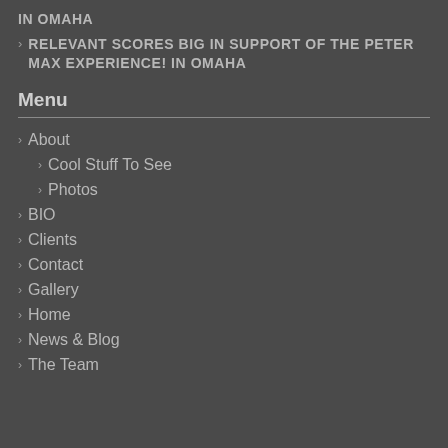IN OMAHA
RELEVANT SCORES BIG IN SUPPORT OF THE PETER MAX EXPERIENCE! IN OMAHA
Menu
About
Cool Stuff To See
Photos
BIO
Clients
Contact
Gallery
Home
News & Blog
The Team